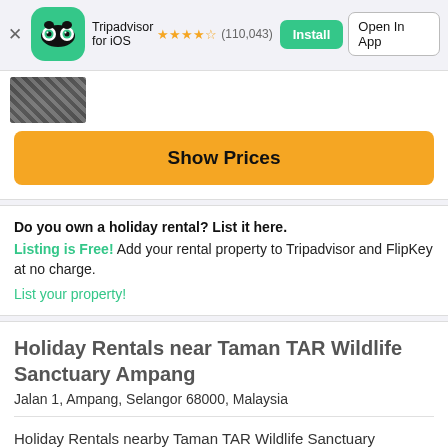[Figure (screenshot): Tripadvisor app banner with owl logo icon on green background, star rating 4.5 stars, review count (110,043), Install button and Open In App button]
[Figure (photo): Partial thumbnail image of a wildlife or nature scene]
Show Prices
Do you own a holiday rental? List it here.
Listing is Free! Add your rental property to Tripadvisor and FlipKey at no charge.
List your property!
Holiday Rentals near Taman TAR Wildlife Sanctuary Ampang
Jalan 1, Ampang, Selangor 68000, Malaysia
Holiday Rentals nearby Taman TAR Wildlife Sanctuary
Ampang
Selangor